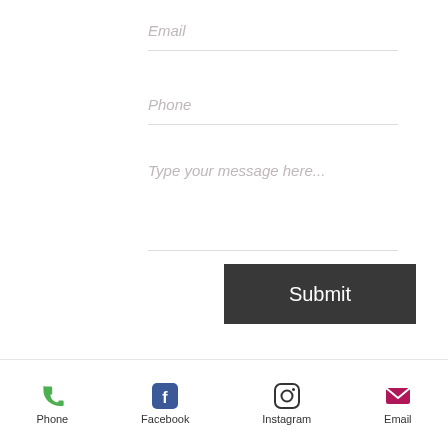Email
Phone
Type your message here...
[Figure (other): Dark grey Submit button]
Follow us for more updates
[Figure (other): Facebook logo icon (blue rounded square with white f)]
[Figure (other): Instagram logo icon (gradient rounded square)]
Phone  Facebook  Instagram  Email